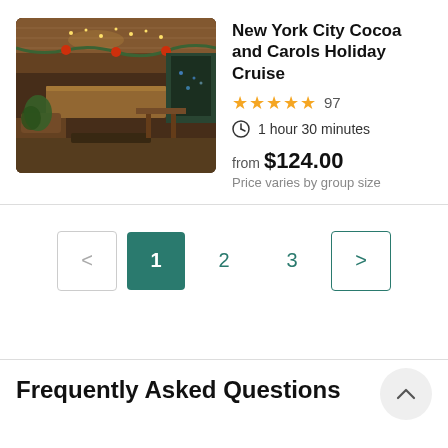[Figure (photo): Interior of a cruise ship decorated for the holidays with hanging lights, garland, flowers, and warm wood paneling]
New York City Cocoa and Carols Holiday Cruise
★★★★★ 97
1 hour 30 minutes
from $124.00
Price varies by group size
< 1 2 3 >
Frequently Asked Questions